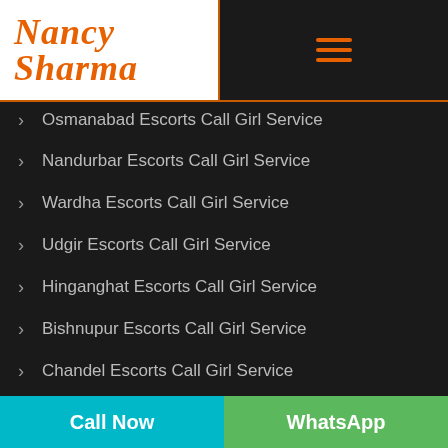Nancy Sharma
Osmanabad Escorts Call Girl Service
Nandurbar Escorts Call Girl Service
Wardha Escorts Call Girl Service
Udgir Escorts Call Girl Service
Hinganghat Escorts Call Girl Service
Bishnupur Escorts Call Girl Service
Chandel Escorts Call Girl Service
Churachandpur Escorts Call Girl Service
Call Now | WhatsApp